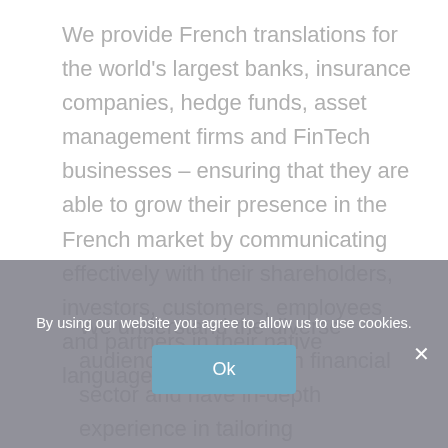We provide French translations for the world's largest banks, insurance companies, hedge funds, asset management firms and FinTech businesses – ensuring that they are able to grow their presence in the French market by communicating effectively with their shareholders, investors, customers, employees and partners in their native language.
We understand the diverse audience of the French financial sector and have in-depth experience in tailoring communications to suit
By using our website you agree to allow us to use cookies.